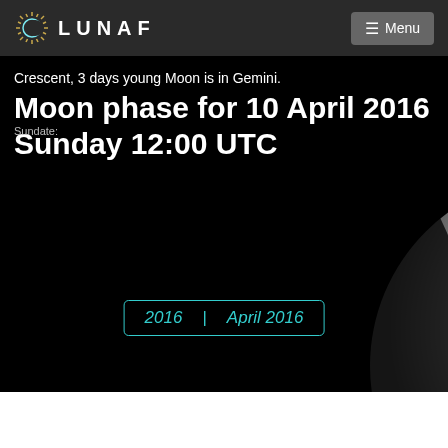LUNAF
Crescent, 3 days young Moon is in Gemini.
Moon phase for 10 April 2016
Sunday 12:00 UTC
[Figure (photo): Crescent moon photograph on black background with 2016 | April 2016 navigation links]
2016  |  April 2016